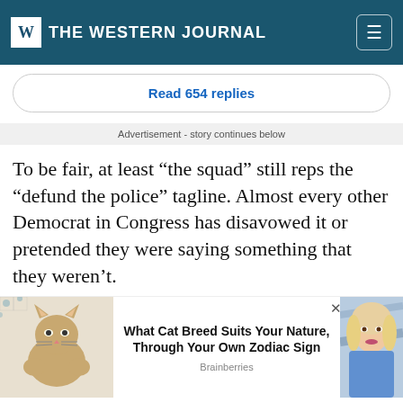THE WESTERN JOURNAL
Read 654 replies
Advertisement - story continues below
To be fair, at least “the squad” still reps the “defund the police” tagline. Almost every other Democrat in Congress has disavowed it or pretended they were saying something that they weren’t.
[Figure (photo): Advertisement widget with a cat photo on the left, text in the center reading 'What Cat Breed Suits Your Nature, Through Your Own Zodiac Sign' sourced from Brainberries, and a partial photo of a woman on the right. A close (X) button is visible.]